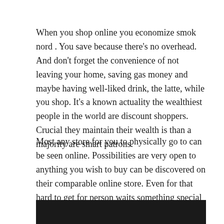When you shop online you economize smok nord . You save because there's no overhead. And don't forget the convenience of not leaving your home, saving gas money and maybe having well-liked drink, the latte, while you shop. It's a known actuality the wealthiest people in the world are discount shoppers. Crucial they maintain their wealth is than a majority are smart patrons.
Most any store for you to physically go to can be seen online. Possibilities are very open to anything you wish to buy can be discovered on their comparable online store. Even for that hard to get for person waits something special online which they will love. Something unique can be found at a shopping store and save you gas driving around town trying obtain it.
[Figure (other): Black bar at the bottom of the page]